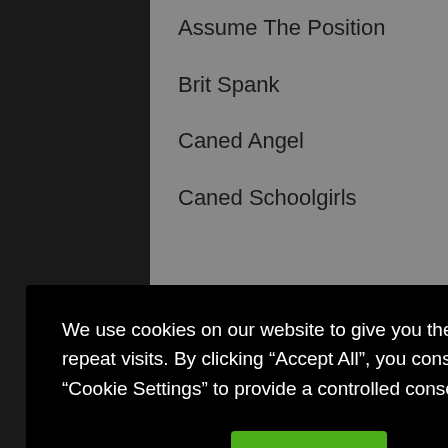Assume The Position
Brit Spank
Caned Angel
Caned Schoolgirls
We use cookies on our website to give you the most relevant experience by remembering your preferences and repeat visits. By clicking “Accept All”, you consent to the use of ALL the cookies. However, you may visit “Cookie Settings” to provide a controlled consent.
FemDom Online
Femme Fatale Films
Firm Hand
Girl Spanks Girl
Girls Bottom